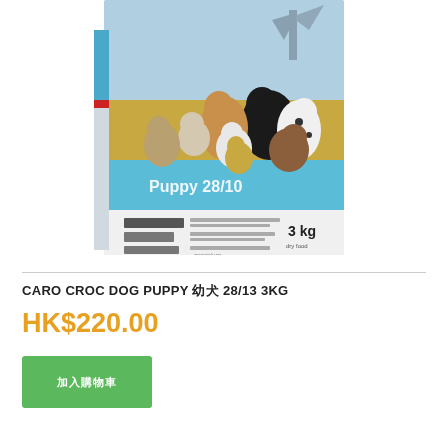[Figure (photo): Product photo of Caro Croc Dog Puppy 28/13 dog food box (3kg), showing multiple puppies of different breeds on the packaging with a light blue band and the text 'Puppy 28/10' and '3 kg' visible on the box.]
CARO CROC DOG PUPPY 幼犬 28/13 3KG
HK$220.00
加入購物車